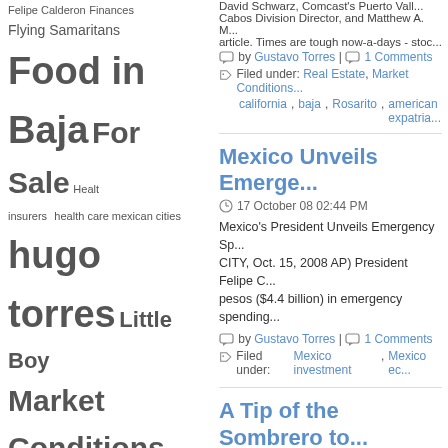Tag cloud: Felipe Calderon, Finances, Flying Samaritans, Food in Baja, For Sale, Healt, insurers, health care, mexican cities, hugo torres, Little Boy, Market Conditions, Mayor, Mayor Hugo Torres, mayor Rosarito, Medicaid, medical tourism, medicare, Mexican Border, mexican food, Mexico, mexico property, mexico border, Mexico economy, Mexico investment, Mexico news, mexico safe, Mexico Tourism, movies
Mexico Unveils Emerge...
17 October 08 02:44 PM
Mexico's President Unveils Emergency Sp... CITY, Oct. 15, 2008 AP) President Felipe C... pesos ($4.4 billion) in emergency spending
by Gustavo Torres | 1 Comments
Filed under: Mexico investment, Mexico ec...
A Tip of the Sombrero to...
16 October 08 02:14 PM
Author: Suzan Haskins Friday, Sept. 12, 20... has once again grabbed the golden ring...